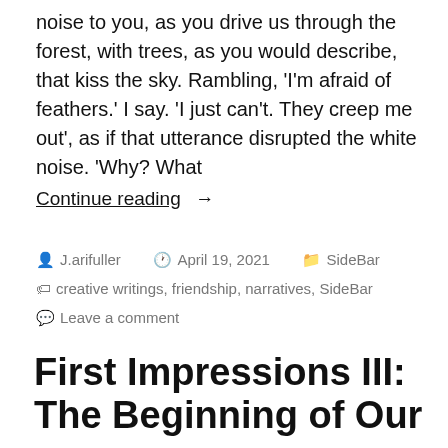noise to you, as you drive us through the forest, with trees, as you would describe, that kiss the sky. Rambling, 'I'm afraid of feathers.' I say. 'I just can't. They creep me out', as if that utterance disrupted the white noise. 'Why? What
Continue reading  →
J.arifuller  April 19, 2021  SideBar  creative writings, friendship, narratives, SideBar  Leave a comment
First Impressions III: The Beginning of Our